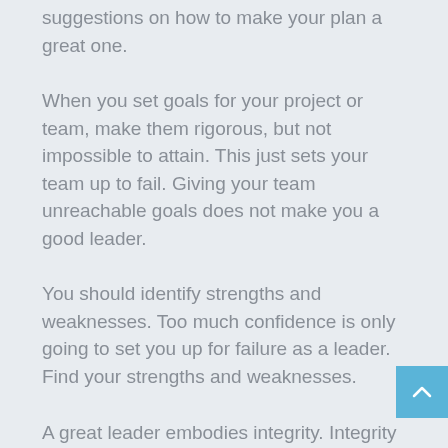suggestions on how to make your plan a great one.
When you set goals for your project or team, make them rigorous, but not impossible to attain. This just sets your team up to fail. Giving your team unreachable goals does not make you a good leader.
You should identify strengths and weaknesses. Too much confidence is only going to set you up for failure as a leader. Find your strengths and weaknesses.
A great leader embodies integrity. Integrity is exhibited by always being honest and doing the right thing, even when no one is watching. It's difficult for others to keep trusting leaders without integrity. Leading with integrity will earn you trust, loyalty and respect.